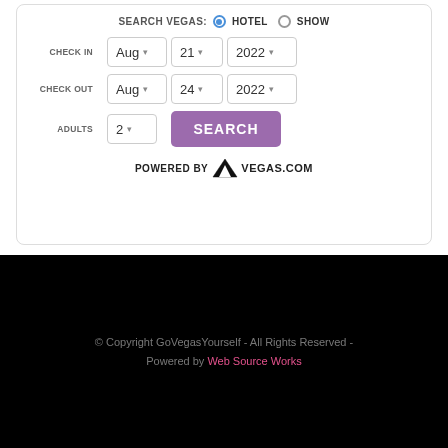SEARCH VEGAS: HOTEL SHOW
CHECK IN Aug 21 2022
CHECK OUT Aug 24 2022
ADULTS 2 SEARCH
[Figure (logo): POWERED BY Vegas.com logo with V emblem]
© Copyright GoVegasYourself - All Rights Reserved - Powered by Web Source Works